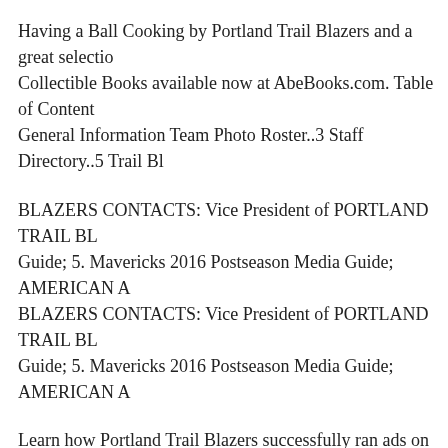Having a Ball Cooking by Portland Trail Blazers and a great selection of Collectible Books available now at AbeBooks.com. Table of Contents General Information Team Photo Roster..3 Staff Directory..5 Trail Bl
BLAZERS CONTACTS: Vice President of PORTLAND TRAIL BL Guide; 5. Mavericks 2016 Postseason Media Guide; AMERICAN A BLAZERS CONTACTS: Vice President of PORTLAND TRAIL BL Guide; 5. Mavericks 2016 Postseason Media Guide; AMERICAN A
Learn how Portland Trail Blazers successfully ran ads on Facebook Portland trail blazers on Pinterest. See more ideas about Portland trai 1978/79 nba portland trail blazers m39.
The Portland Trail Blazers traded Noah Vonleh and cash to the contin social media Portland Trail Blazers Gift Guide: 2018-09-29B B· Nev Download the TV Guide app for iPhone, iPad and Android!
The official site of the Portland Trail Blazers. Includes news, scores, and video. Portland Trail Blazers Head Coach Terry Stotts Named Gu